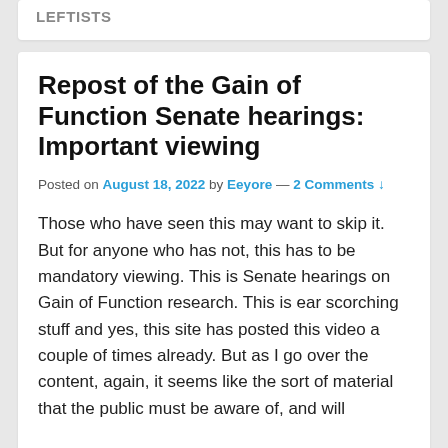LEFTISTS
Repost of the Gain of Function Senate hearings: Important viewing
Posted on August 18, 2022 by Eeyore — 2 Comments ↓
Those who have seen this may want to skip it. But for anyone who has not, this has to be mandatory viewing. This is Senate hearings on Gain of Function research. This is ear scorching stuff and yes, this site has posted this video a couple of times already. But as I go over the content, again, it seems like the sort of material that the public must be aware of, and will